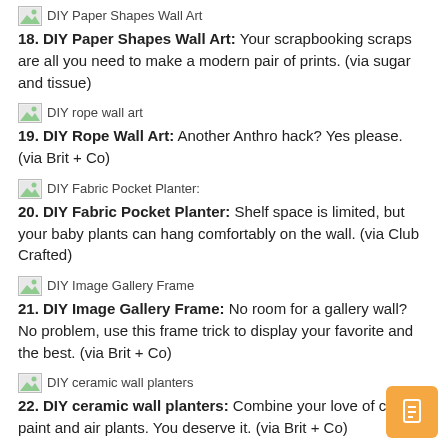[Figure (illustration): Broken image placeholder with alt text: DIY Paper Shapes Wall Art]
18. DIY Paper Shapes Wall Art: Your scrapbooking scraps are all you need to make a modern pair of prints. (via sugar and tissue)
[Figure (illustration): Broken image placeholder with alt text: DIY rope wall art]
19. DIY Rope Wall Art: Another Anthro hack? Yes please. (via Brit + Co)
[Figure (illustration): Broken image placeholder with alt text: DIY Fabric Pocket Planter:]
20. DIY Fabric Pocket Planter: Shelf space is limited, but your baby plants can hang comfortably on the wall. (via Club Crafted)
[Figure (illustration): Broken image placeholder with alt text: DIY Image Gallery Frame]
21. DIY Image Gallery Frame: No room for a gallery wall? No problem, use this frame trick to display your favorite and the best. (via Brit + Co)
[Figure (illustration): Broken image placeholder with alt text: DIY ceramic wall planters]
22. DIY ceramic wall planters: Combine your love of clay, paint and air plants. You deserve it. (via Brit + Co)